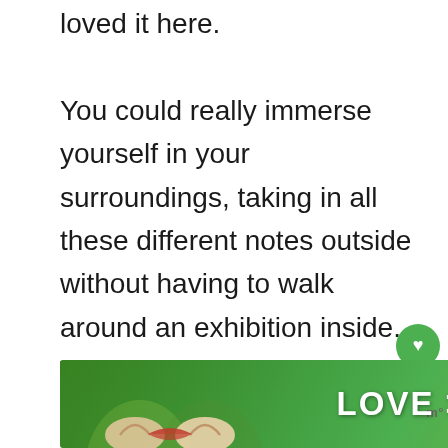loved it here.

You could really immerse yourself in your surroundings, taking in all these different notes outside without having to walk around an exhibition inside. To me, it really adds to the city!
[Figure (infographic): Green circular like button with heart icon, count of 5, and a share button below]
[Figure (infographic): Advertisement banner with hands forming a heart shape and text LOVE > HATE on a green background, with a close X button and a logo to the right]